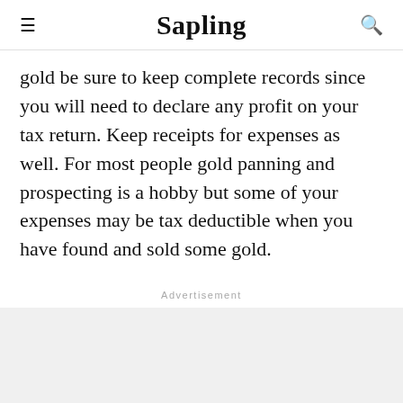Sapling
gold be sure to keep complete records since you will need to declare any profit on your tax return. Keep receipts for expenses as well. For most people gold panning and prospecting is a hobby but some of your expenses may be tax deductible when you have found and sold some gold.
Advertisement